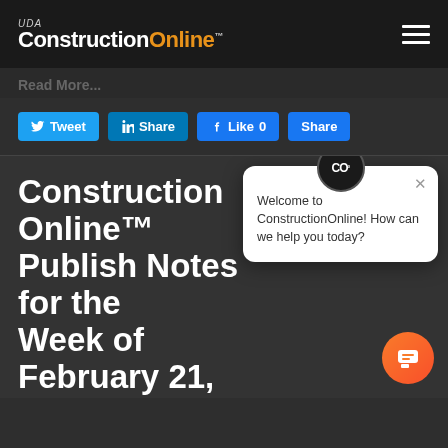UDA ConstructionOnline™
Read More...
Tweet Share Like 0 Share
ConstructionOnline™ Publish Notes for the Week of February 21, 2022
Welcome to ConstructionOnline! How can we help you today?